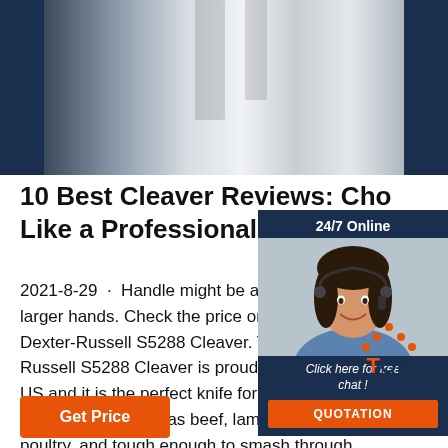[Figure (photo): Close-up photo of a metallic cleaver or knife against a dark navy blue background]
10 Best Cleaver Reviews: Cho Like a Professional Chef
2021-8-29 · Handle might be a bit sho larger hands. Check the price on Ama Dexter-Russell S5288 Cleaver. The D Russell S5288 Cleaver is proudly mad US and it is the perfect knife for butch types of meat such as beef, lamb, pork, fish, and poultry, and tough enough to smash through chicken bones.
[Figure (photo): Chat widget showing a customer service agent (woman with headset) with 24/7 Online text and QUOTATION button]
[Figure (other): TOP badge with orange dots forming a chevron/caret shape above the word TOP in dark blue with orange T]
Get Price